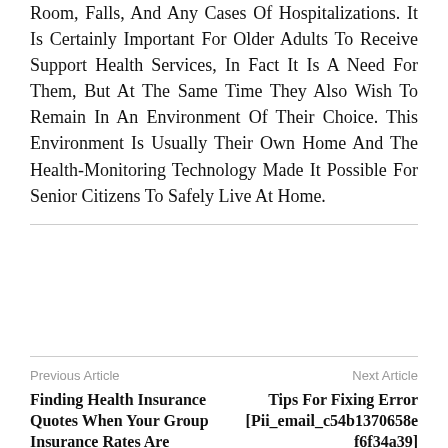Room, Falls, And Any Cases Of Hospitalizations. It Is Certainly Important For Older Adults To Receive Support Health Services, In Fact It Is A Need For Them, But At The Same Time They Also Wish To Remain In An Environment Of Their Choice. This Environment Is Usually Their Own Home And The Health-Monitoring Technology Made It Possible For Senior Citizens To Safely Live At Home.
[Figure (other): Social media interaction bar with Like button (blue, count 0) and share buttons: generic share, Facebook (dark blue), Twitter (light blue), Pinterest (red), WhatsApp (green)]
Previous Article
Next Article
Finding Health Insurance Quotes When Your Group Insurance Rates Are
Tips For Fixing Error [Pii_email_c54b1370658e f6f34a39]